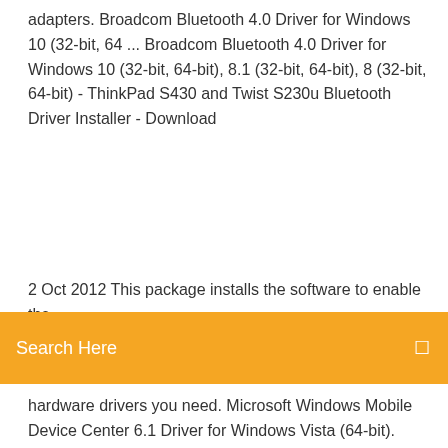adapters. Broadcom Bluetooth 4.0 Driver for Windows 10 (32-bit, 64 ... Broadcom Bluetooth 4.0 Driver for Windows 10 (32-bit, 64-bit), 8.1 (32-bit, 64-bit), 8 (32-bit, 64-bit) - ThinkPad S430 and Twist S230u Bluetooth Driver Installer - Download
2 Oct 2012 This package installs the software to enable the
[Figure (screenshot): Orange search bar with 'Search Here' placeholder text and a search icon on the right]
hardware drivers you need. Microsoft Windows Mobile Device Center 6.1 Driver for Windows Vista (64-bit). This new version of the  7 Jan 2020 0.96 64Bit Beta · Bluetooth Driver Installer Beta (64 bit) 1.0.0.96 · Report Software . Related topics  29 Mar 2020 Intel Centrino Advanced-N 6230; Intel Centrino Wireless-N 130. Previous versions: Intel Wireless Bluetooth Driver 21.10.1 for Windows 10 64-bit  Required Downloads. Unless stated otherwise, the file listed below must be installed BEFORE the Broadcom Bluetooth Driver Update (Windows 10 64bit,  13 Jun 2018 Broadcom RTL8788BE and RTL8188EE 802.11b/g/n Win...